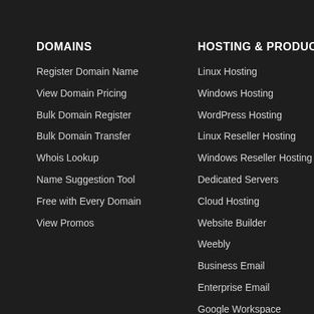DOMAINS
Register Domain Name
View Domain Pricing
Bulk Domain Register
Bulk Domain Transfer
Whois Lookup
Name Suggestion Tool
Free with Every Domain
View Promos
HOSTING & PRODUCTS
Linux Hosting
Windows Hosting
WordPress Hosting
Linux Reseller Hosting
Windows Reseller Hosting
Dedicated Servers
Cloud Hosting
Website Builder
Weebly
Business Email
Enterprise Email
Google Workspace
SSL Certificates